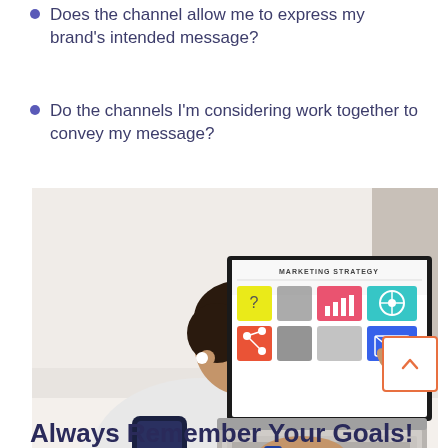Does the channel allow me to express my brand's intended message?
Do the channels I'm considering work together to convey my message?
[Figure (photo): Person viewed from behind sitting at a desk, working on a laptop displaying a 'Marketing Strategy' screen with colorful icons and charts, with a smartphone on the desk beside them.]
Always Remember Your Goals!